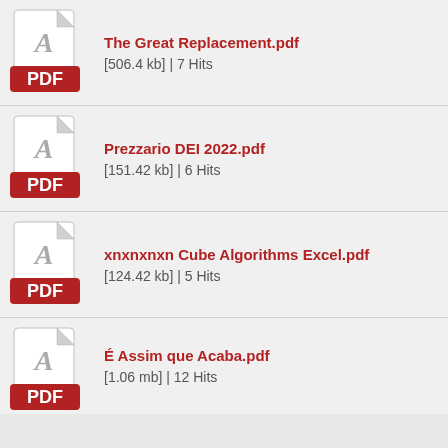The Great Replacement.pdf
[506.4 kb] | 7 Hits
Prezzario DEI 2022.pdf
[151.42 kb] | 6 Hits
xnxnxnxn Cube Algorithms Excel.pdf
[124.42 kb] | 5 Hits
É Assim que Acaba.pdf
[1.06 mb] | 12 Hits